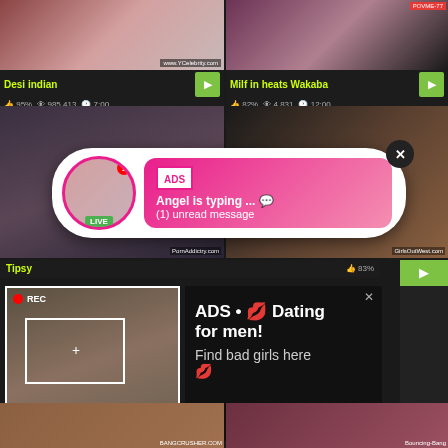Desi indian | 95% | 985 413 | 7:00
Milf in heats Wakaba | 82% | 4 831 | 12:00
[Figure (screenshot): Adult video thumbnail grid with advertisement overlays. Top row shows two video thumbnails with titles 'Desi indian' and 'Milf in heats Wakaba'. Middle row shows two more thumbnails with a chat notification ad overlay reading 'ADS Angel is typing ... (1) unread message'. Bottom section shows a REC overlay with a dating ad 'ADS • Dating for men! Find bad girls here'.]
ADS
Angel is typing ... 💬
(1) unread message
Tipsy | 83%
ADS • 💋 Dating for men!
Find bad girls here 💋